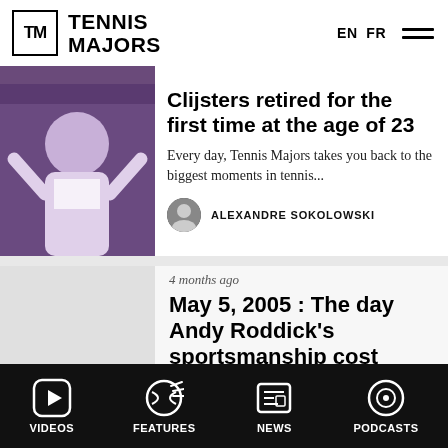Tennis Majors — EN FR
[Figure (photo): Tennis player raising arms in celebration, purple background]
Clijsters retired for the first time at the age of 23
Every day, Tennis Majors takes you back to the biggest moments in tennis...
ALEXANDRE SOKOLOWSKI
4 months ago
May 5, 2005 : The day Andy Roddick's sportsmanship cost
VIDEOS  FEATURES  NEWS  PODCASTS